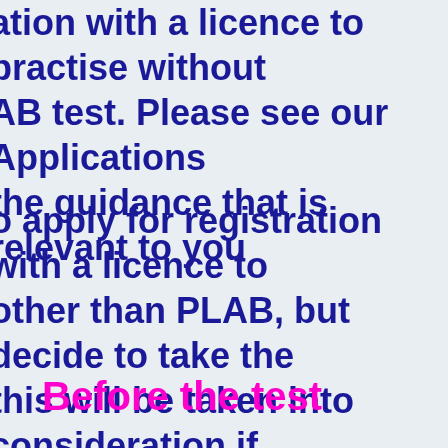ation with a licence to practise without AB test. Please see our Applications the guidance that is relevant to you
o apply for registration with a licence to other than PLAB, but decide to take the this will be taken into consideration if ply through an alternative route org/doctors/plab/before_you_apply.asp
Before the test